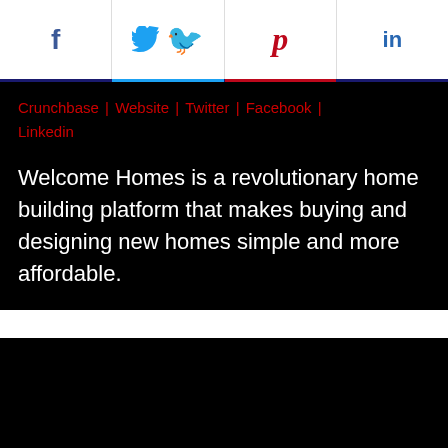[Figure (screenshot): Social share buttons bar with Facebook (f), Twitter (bird icon), Pinterest (p), and LinkedIn (in) icons on a white background with colored bottom borders.]
Crunchbase | Website | Twitter | Facebook | Linkedin
Welcome Homes is a revolutionary home building platform that makes buying and designing new homes simple and more affordable.
[Figure (screenshot): Black rectangular area, appears to be a video embed placeholder. An upward arrow icon is visible in the bottom right corner.]